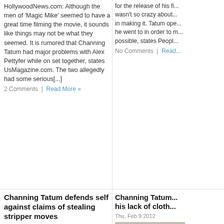HollywoodNews.com: Although the men of 'Magic Mike' seemed to have a great time filming the movie, it sounds like things may not be what they seemed. It is rumored that Channing Tatum had major problems with Alex Pettyfer while on set together, states UsMagazine.com. The two allegedly had some serious[...]
2 Comments | Read More »
for the release of his f... wasn't so crazy about... in making it. Tatum ope... he went to in order to m... possible, states Peopl...
No Comments | Read...
Channing Tatum defends self against claims of stealing stripper moves
Tue, Jun 26 2012
[Figure (photo): Photo of Channing Tatum, male celebrity, close-up headshot on gray background]
Also tagged: Awards Movies News Award, breaking news, channing tatum, Entertainment news, Entertainment/Culture, Hollywood, hollywood news, Human Interest, Judicial Event, Magic Mike, Movie Release, News Hollywood
Channing Tatum... his lack of cloth...
Thu, Feb 9 2012
[Figure (photo): Photo of Channing Tatum, partial headshot on right column]
Also tagged: Awards M... breaking news, chann... news, Entertainment/C... hollywood news, Hum... News Hollywood Awar...
HollywoodNews.com...